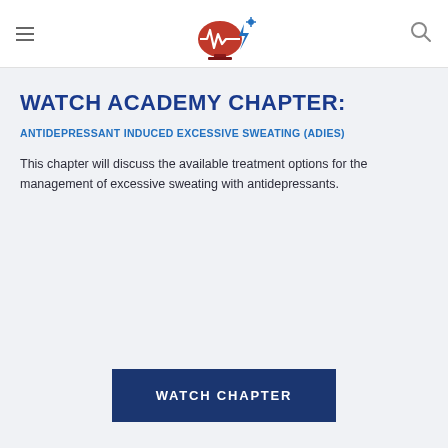[Logo: brain/heart monitor icon]
WATCH ACADEMY CHAPTER:
ANTIDEPRESSANT INDUCED EXCESSIVE SWEATING (ADIES)
This chapter will discuss the available treatment options for the management of excessive sweating with antidepressants.
WATCH CHAPTER